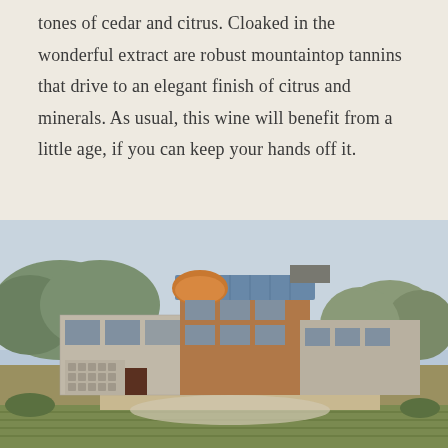tones of cedar and citrus. Cloaked in the wonderful extract are robust mountaintop tannins that drive to an elegant finish of citrus and minerals. As usual, this wine will benefit from a little age, if you can keep your hands off it.
[Figure (photo): Exterior photograph of a modern winery building with stone facade, wooden paneling, solar panels on the roof, a copper sculptural element, and vineyards in the foreground. Trees and hills visible in the background under a hazy sky.]